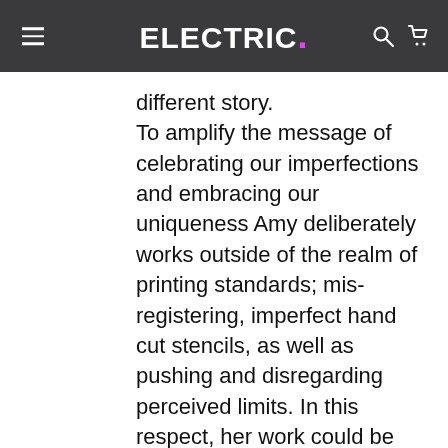ELECTRIC.
different story. To amplify the message of celebrating our imperfections and embracing our uniqueness Amy deliberately works outside of the realm of printing standards; mis-registering, imperfect hand cut stencils, as well as pushing and disregarding perceived limits. In this respect, her work could be seen to hint at the often subtle ways in which women have historically subverted the constraints of their